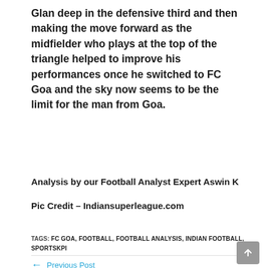Glan deep in the defensive third and then making the move forward as the midfielder who plays at the top of the triangle helped to improve his performances once he switched to FC Goa and the sky now seems to be the limit for the man from Goa.
Analysis by our Football Analyst Expert Aswin K
Pic Credit  – Indiansuperleague.com
TAGS: FC GOA, FOOTBALL, FOOTBALL ANALYSIS, INDIAN FOOTBALL, SPORTSKPI
← Previous Post
Machine Learning (ML) based Advanced Kabaddi